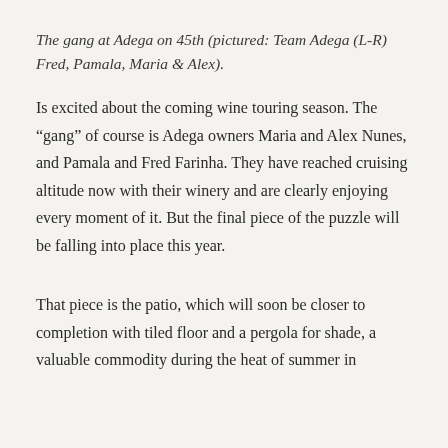The gang at Adega on 45th (pictured: Team Adega (L-R) Fred, Pamala, Maria & Alex).
Is excited about the coming wine touring season. The “gang” of course is Adega owners Maria and Alex Nunes, and Pamala and Fred Farinha. They have reached cruising altitude now with their winery and are clearly enjoying every moment of it. But the final piece of the puzzle will be falling into place this year.
That piece is the patio, which will soon be closer to completion with tiled floor and a pergola for shade, a valuable commodity during the heat of summer in